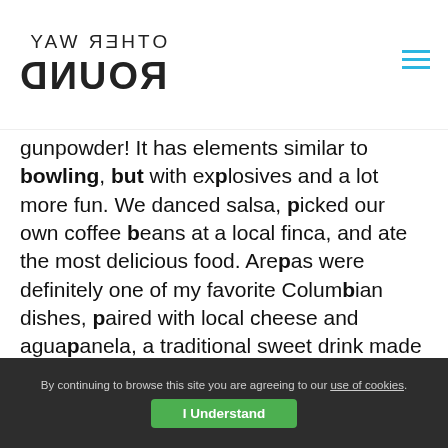OTHER WAY ROUND
gunpowder! It has elements similar to bowling, but with explosives and a lot more fun. We danced salsa, picked our own coffee beans at a local finca, and ate the most delicious food. Arepas were definitely one of my favorite Columbian dishes, paired with local cheese and aguapanela, a traditional sweet drink made with panela. Devouring these treats along with the local hot chocolate is their daily culinary ritual called “tomar las onces,” which I quickly embraced.
(See also: Swapping Solo Travel for a Group Tour)
By continuing to browse this site you are agreeing to our use of cookies.